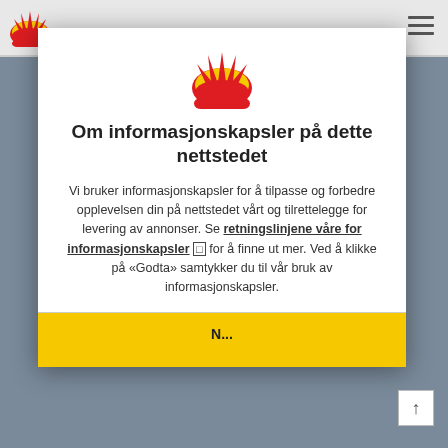[Figure (logo): Shell logo in top-left corner of page header]
[Figure (logo): Shell logo centered at top of modal dialog]
Om informasjonskapsler på dette nettstedet
Vi bruker informasjonskapsler for å tilpasse og forbedre opplevelsen din på nettstedet vårt og tilrettelegge for levering av annonser. Se retningslinjene våre for informasjonskapsler □ for å finne ut mer. Ved å klikke på «Godta» samtykker du til vår bruk av informasjonskapsler.
[Figure (screenshot): Yellow button partially visible at bottom of modal, text cut off]